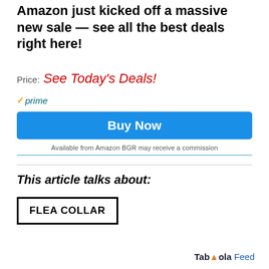Amazon just kicked off a massive new sale — see all the best deals right here!
Price: See Today's Deals!
✓prime
Buy Now
Available from Amazon BGR may receive a commission
This article talks about:
FLEA COLLAR
Taboola Feed